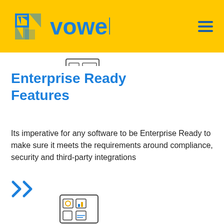[Figure (logo): Vowel logo with blue geometric icon and 'vowel' text in blue on yellow background, plus hamburger menu icon in top right]
Enterprise Ready Features
Its imperative for any software to be Enterprise Ready to make sure it meets the requirements around compliance, security and third-party integrations
[Figure (other): Double right-pointing chevron arrow icon in blue]
[Figure (illustration): Small dashboard/control panel icon partially visible at bottom of page]